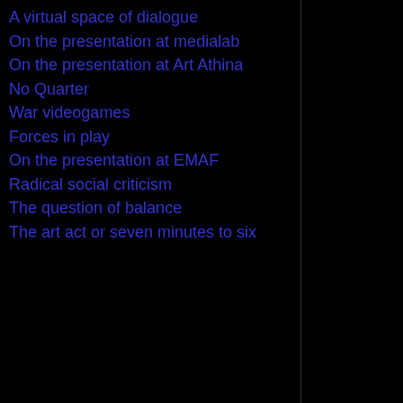A virtual space of dialogue
On the presentation at medialab
On the presentation at Art Athina
No Quarter
War videogames
Forces in play
On the presentation at EMAF
Radical social criticism
The question of balance
The art act or seven minutes to six